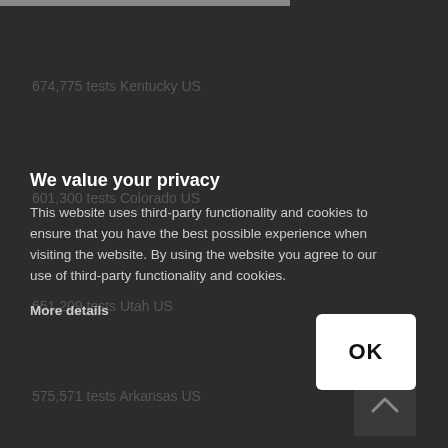674,775 tests Kentucky US
601,300 tests Colorado US
651,209 tests Utah US
575,571 tests Arkansas US
We value your privacy
This website uses third-party functionality and cookies to ensure that you have the best possible experience when visiting the website. By using the website you agree to our use of third-party functionality and cookies.
More details